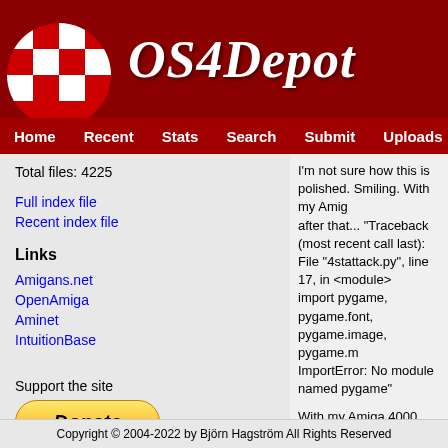[Figure (logo): OS4Depot website header with red checkered globe logo and italic white OS4Depot title text on dark red background]
Home | Recent | Stats | Search | Submit | Uploads | Mirrors | Co...
Total files: 4225
Full index file
Recent index file
Links
Amigans.net
OpenAmiga
Aminet
IntuitionBase
Support the site
I'm not sure how this is polished. Smiling. With my Amiga ... after that... "Traceback (most recent call last):
File "4stattack.py", line 17, in <module>
import pygame, pygame.font, pygame.image, pygame.m...
ImportError: No module named pygame"

With my Amiga 4000 CSPPC, the intro isn't displayed. B...

I hope you read this and repair it. :-)
Copyright © 2004-2022 by Björn Hagström All Rights Reserved